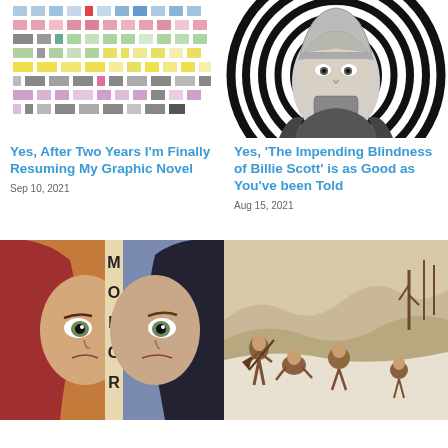[Figure (illustration): Colorful grid of small colored squares/rectangles in various colors including blue, pink, gray, green, yellow arranged in rows]
Yes, After Two Years I'm Finally Resuming My Graphic Novel
Sep 10, 2021
[Figure (illustration): Black and white illustration of a young person with short hair wearing a knit cap, surrounded by concentric spiral circles]
Yes, 'The Impending Blindness of Billie Scott' is as Good as You've been Told
Aug 15, 2021
[Figure (illustration): Graphic novel cover 'Mongrel' showing a split face of a woman with striking eyes, red hair on left, dark hair on right]
[Figure (illustration): Sepia-toned illustration of people in a snowy winter landscape, appearing to be indigenous people]